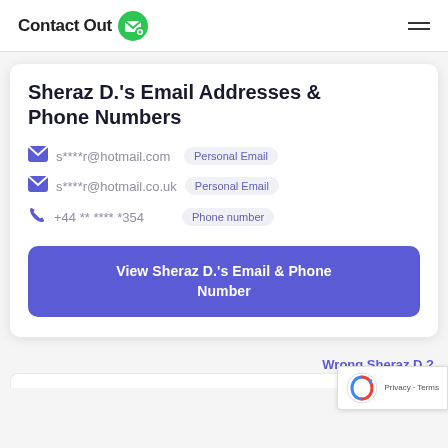ContactOut
Sheraz D.'s Email Addresses & Phone Numbers
s****r@hotmail.com  Personal Email
s****r@hotmail.co.uk  Personal Email
+44 ** **** *354  Phone number
View Sheraz D.'s Email & Phone Number
Wrong Sheraz D.?
[Figure (logo): reCAPTCHA badge with Privacy and Terms text]